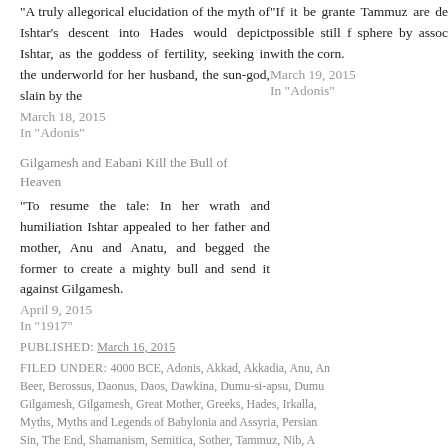"A truly allegorical elucidation of the myth of Ishtar’s descent into Hades would depict Ishtar, as the goddess of fertility, seeking in the underworld for her husband, the sun-god, slain by the
March 18, 2015
In "Adonis"
"If it be grante Tammuz are de possible still f sphere by assoc with the corn.
March 19, 2015
In "Adonis"
Gilgamesh and Eabani Kill the Bull of Heaven
"To resume the tale: In her wrath and humiliation Ishtar appealed to her father and mother, Anu and Anatu, and begged the former to create a mighty bull and send it against Gilgamesh.
April 9, 2015
In "1917"
PUBLISHED: March 16, 2015
FILED UNDER: 4000 BCE, Adonis, Akkad, Akkadia, Anu, An Beer, Berossus, Daonus, Daos, Dawkina, Dumu-si-apsu, Dumu Gilgamesh, Gilgamesh, Great Mother, Greeks, Hades, Irkalla, Myths, Myths and Legends of Babylonia and Assyria, Persian Sin, The End, Shamanism, Semitica, Sother, Tammuz, Nib, A